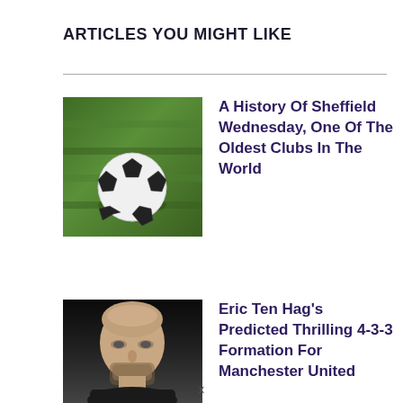ARTICLES YOU MIGHT LIKE
[Figure (photo): A soccer ball resting on green grass]
A History Of Sheffield Wednesday, One Of The Oldest Clubs In The World
[Figure (photo): Close-up of a bald man's face against a dark background, likely Eric Ten Hag]
Eric Ten Hag's Predicted Thrilling 4-3-3 Formation For Manchester United